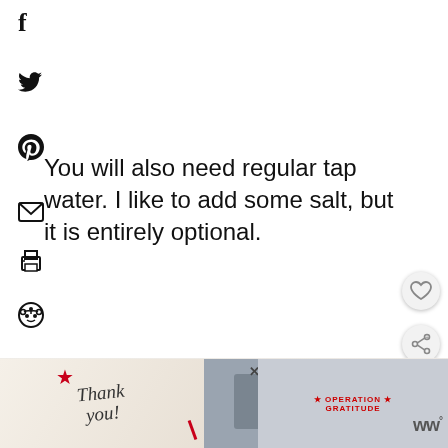f
y
P (Pinterest icon)
You will also need regular tap water. I like to add some salt, but it is entirely optional.
[Figure (photo): A bowl of yellow couscous or similar grain on a white marble surface, photographed from above/side angle]
WHAT'S NEXT → 2-Ingredient Flax Sandwi...
[Figure (photo): Advertisement banner: Thank you military appreciation ad with Operation Gratitude logo]